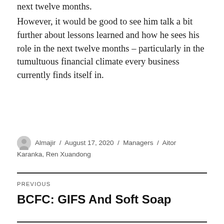next twelve months.
However, it would be good to see him talk a bit further about lessons learned and how he sees his role in the next twelve months – particularly in the tumultuous financial climate every business currently finds itself in.
Almajir / August 17, 2020 / Managers / Aitor Karanka, Ren Xuandong
Previous
BCFC: GIFS And Soft Soap